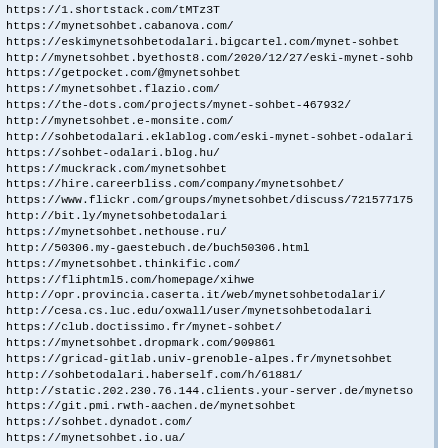https://1.shortstack.com/tMTz3T
https://mynetsohbet.cabanova.com/
https://eskimynetsohbetodalari.bigcartel.com/mynet-sohbet
http://mynetsohbet.byethost8.com/2020/12/27/eski-mynet-sohb
https://getpocket.com/@mynetsohbet
https://mynetsohbet.flazio.com/
https://the-dots.com/projects/mynet-sohbet-467932/
http://mynetsohbet.e-monsite.com/
http://sohbetodalari.eklablog.com/eski-mynet-sohbet-odalari
https://sohbet-odalari.blog.hu/
https://muckrack.com/mynetsohbet
https://hire.careerbliss.com/company/mynetsohbet/
https://www.flickr.com/groups/mynetsohbet/discuss/721577175
http://bit.ly/mynetsohbetodalari
https://mynetsohbet.nethouse.ru/
http://50306.my-gaestebuch.de/buch50306.html
https://mynetsohbet.thinkific.com/
https://fliphtml5.com/homepage/xihwe
http://opr.provincia.caserta.it/web/mynetsohbetodalari/
http://cesa.cs.luc.edu/oxwall/user/mynetsohbetodalari
https://club.doctissimo.fr/mynet-sohbet/
https://mynetsohbet.dropmark.com/909861
https://gricad-gitlab.univ-grenoble-alpes.fr/mynetsohbet
http://sohbetodalari.haberself.com/h/61881/
http://static.202.230.76.144.clients.your-server.de/mynetso
https://git.pmi.rwth-aachen.de/mynetsohbet
https://sohbet.dynadot.com/
https://mynetsohbet.io.ua/
https://vpdt11-snnptnt.tphcm.gov.vn/web/chat/